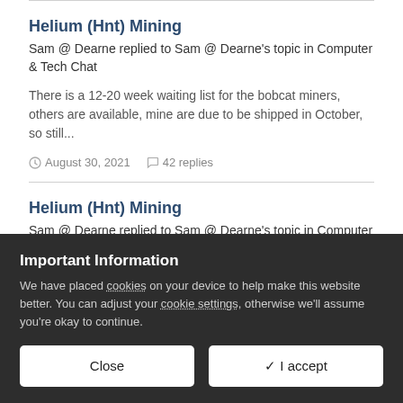Helium (Hnt) Mining
Sam @ Dearne replied to Sam @ Dearne's topic in Computer & Tech Chat
There is a 12-20 week waiting list for the bobcat miners, others are available, mine are due to be shipped in October, so still...
August 30, 2021   42 replies
Helium (Hnt) Mining
Sam @ Dearne replied to Sam @ Dearne's topic in Computer & Tech Chat
Important Information
We have placed cookies on your device to help make this website better. You can adjust your cookie settings, otherwise we'll assume you're okay to continue.
Close
✔ I accept